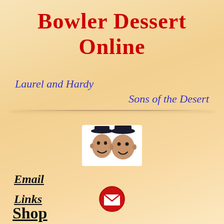Bowler Dessert Online
Laurel and Hardy
Sons of the Desert
[Figure (illustration): Two cartoon faces with bowler hats representing Laurel and Hardy]
Email
[Figure (illustration): Red circle with white envelope/mail icon]
Links
Shop